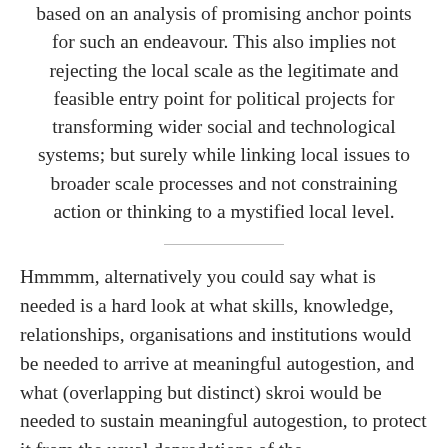based on an analysis of promising anchor points for such an endeavour. This also implies not rejecting the local scale as the legitimate and feasible entry point for political projects for transforming wider social and technological systems; but surely while linking local issues to broader scale processes and not constraining action or thinking to a mystified local level.
Hmmmm, alternatively you could say what is needed is a hard look at what skills, knowledge, relationships, organisations and institutions would be needed to arrive at meaningful autogestion, and what (overlapping but distinct) skroi would be needed to sustain meaningful autogestion, to protect it from the usual depredations of the